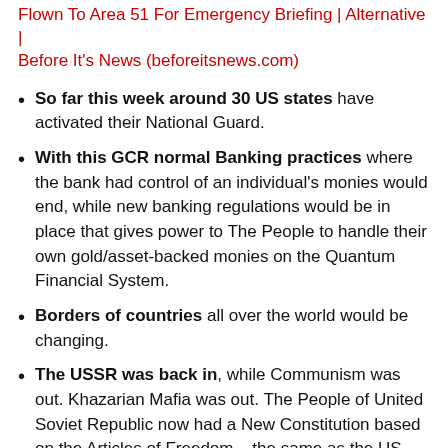Flown To Area 51 For Emergency Briefing | Alternative | Before It's News (beforeitsnews.com)
So far this week around 30 US states have activated their National Guard.
With this GCR normal Banking practices where the bank had control of an individual's monies would end, while new banking regulations would be in place that gives power to The People to handle their own gold/asset-backed monies on the Quantum Financial System.
Borders of countries all over the world would be changing.
The USSR was back in, while Communism was out. Khazarian Mafia was out. The People of United Soviet Republic now had a New Constitution based on the Articles of Freedom – the same as the US Constitution.
The Chinese Communist Party would end. The CCP was in default, bankrupt, kaput, gone and would be replaced